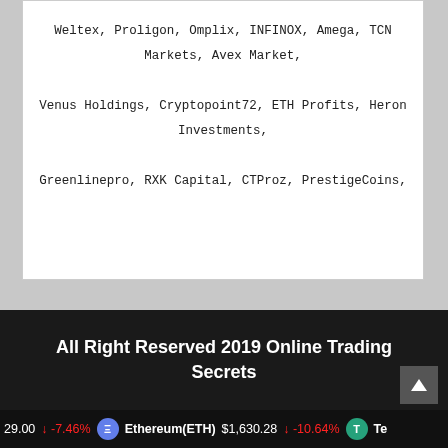Weltex, Proligon, Omplix, INFINOX, Amega, TCN Markets, Avex Market, Venus Holdings, Cryptopoint72, ETH Profits, Heron Investments, Greenlinepro, RXK Capital, CTProz, PrestigeCoins,
This website may have financial affiliations with some (not all) of the brands and companies mentioned on this website, and may be compensated if consumers choose to click these links in our content and ultimately sign up for that product or service. read full disclaimer here
All Right Reserved 2019 Online Trading Secrets
29.00 -7.46% Ethereum(ETH) $1,630.28 -10.64% Te